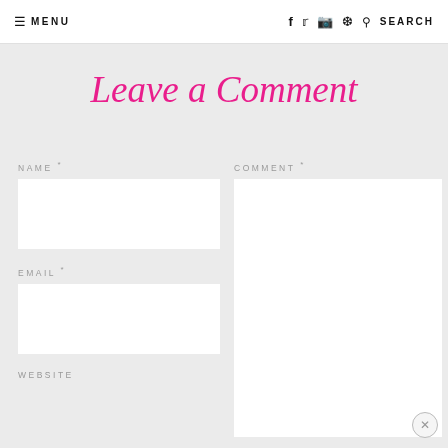≡ MENU   f  twitter  instagram  pinterest  🔍 SEARCH
Leave a Comment
NAME *
COMMENT *
EMAIL *
WEBSITE